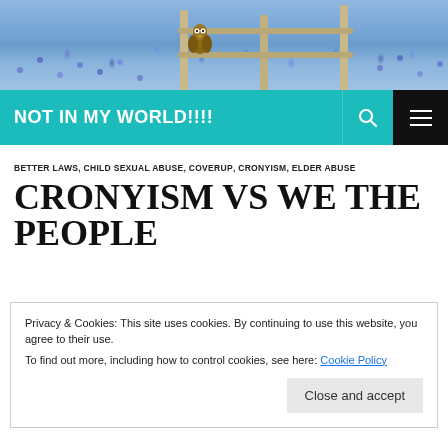[Figure (photo): Banner photo of blue wildflowers (bluebonnets) with a wooden fence and a small owl perched on it]
NOT IN MY WORLD!!!!
BETTER LAWS, CHILD SEXUAL ABUSE, COVERUP, CRONYISM, ELDER ABUSE
CRONYISM VS WE THE PEOPLE
Privacy & Cookies: This site uses cookies. By continuing to use this website, you agree to their use.
To find out more, including how to control cookies, see here: Cookie Policy
Close and accept